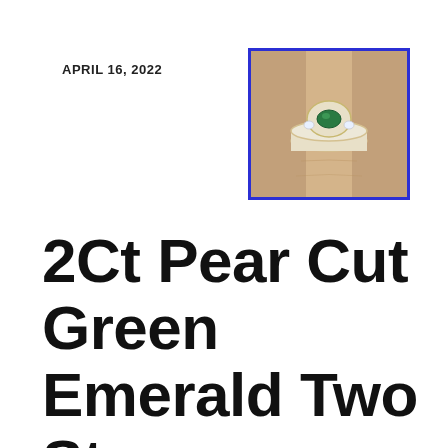APRIL 16, 2022
[Figure (photo): A close-up photo of a hand wearing a green emerald two-stone ring in white gold, shown from above with a blue border around the image.]
2Ct Pear Cut Green Emerald Two Stone Engagement Ring 14K White Gold Finish